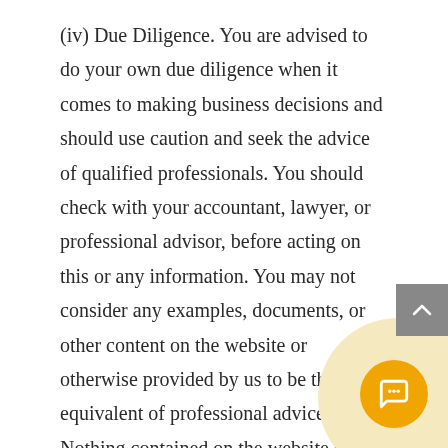(iv) Due Diligence. You are advised to do your own due diligence when it comes to making business decisions and should use caution and seek the advice of qualified professionals. You should check with your accountant, lawyer, or professional advisor, before acting on this or any information. You may not consider any examples, documents, or other content on the website or otherwise provided by us to be the equivalent of professional advice. Nothing contained on the website or in materials available for sale or download on the website